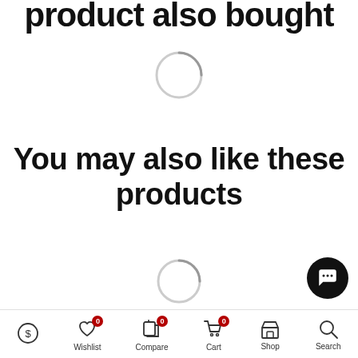product also bought
[Figure (other): Loading spinner (circle arc) for product also bought section]
You may also like these products
[Figure (other): Loading spinner (circle arc) for you may also like these products section]
[Figure (other): Chat/support button (dark circle with chat icon)]
Wishlist 0 | Compare 0 | Cart 0 | Shop | Search